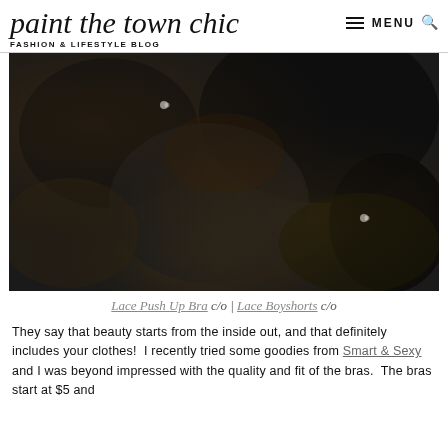paint the town chic — FASHION & LIFESTYLE BLOG
[Figure (photo): Close-up photograph of black lace lingerie items (push-up bra and boyshorts) laid flat, showing intricate lace texture and small pearl/button details against a light background.]
Lace Push Up Bra c/o | Lace Boyshorts c/o
They say that beauty starts from the inside out, and that definitely includes your clothes!  I recently tried some goodies from Smart & Sexy and I was beyond impressed with the quality and fit of the bras.  The bras start at $5 and